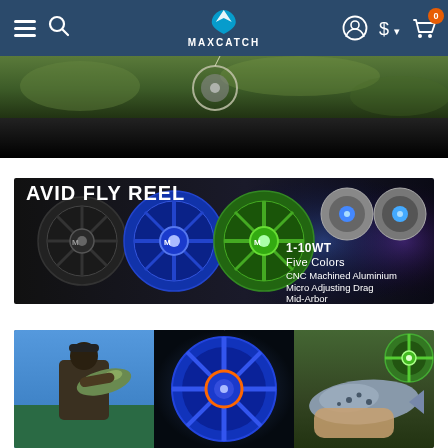MAXCATCH navigation bar with hamburger menu, search, logo, account, currency selector, and cart (0 items)
[Figure (photo): Partial hero image showing a fly fishing reel with line, blurred green natural background, with a dark black bar at the bottom]
[Figure (photo): AVID FLY REEL product banner showing multiple fly reels in black, blue, and green colors. Text reads: AVID FLY REEL, 1-10WT, Five Colors, CNC Machined Aluminium, Micro Adjusting Drag, Mid-Arbor]
[Figure (photo): Three-panel photo strip: left panel shows angler holding a large fish, center panel shows blue fly reel close-up, right panel shows trout with green fly reel]